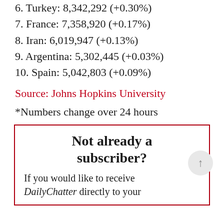6. Turkey: 8,342,292 (+0.30%)
7. France: 7,358,920 (+0.17%)
8. Iran: 6,019,947 (+0.13%)
9. Argentina: 5,302,445 (+0.03%)
10. Spain: 5,042,803 (+0.09%)
Source: Johns Hopkins University
*Numbers change over 24 hours
Not already a subscriber?
If you would like to receive DailyChatter directly to your